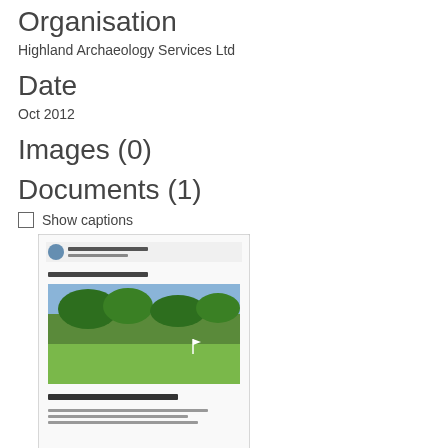Organisation
Highland Archaeology Services Ltd
Date
Oct 2012
Images (0)
Documents (1)
☐ Show captions
[Figure (screenshot): Thumbnail of a document cover page for Highland Archaeology Services Ltd, showing a golf course photo and text 'Archaeological Evaluation']
Description